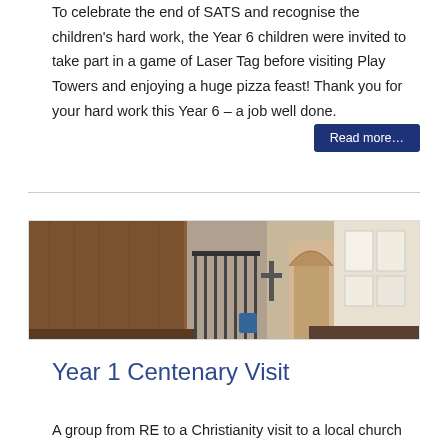To celebrate the end of SATS and recognise the children's hard work, the Year 6 children were invited to take part in a game of Laser Tag before visiting Play Towers and enjoying a huge pizza feast! Thank you for your hard work this Year 6 – a job well done.
Read more...
[Figure (photo): Interior of a church or hall showing wooden panelling, a staircase with metal railings, a cross, an arched doorway, and windows on the right side.]
Year 1 Centenary Visit
A group from RE to a Christianity visit to a local church and...